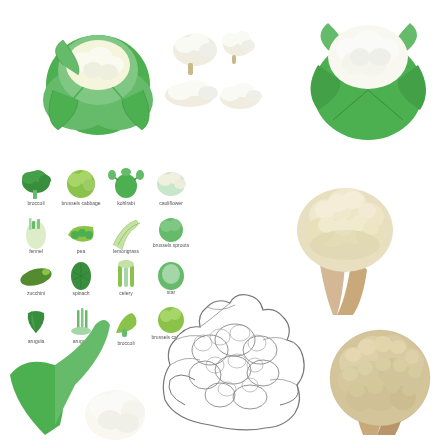[Figure (illustration): Collection of illustrated vegetables including cauliflower, broccoli, cabbage, brussels sprouts, kohlrabi, celery, spinach, peas, zucchini, fennel, arugula, and other green vegetables. Top row shows a whole cabbage with white cauliflower inside, loose cauliflower florets, and a whole cauliflower head. Middle left shows a labeled icon grid of 16 green vegetables. Middle right shows a large cream/beige colored broccoli illustration. Bottom row shows partial cauliflower with green leaves, a line-drawing style cauliflower, and a tan/beige detailed cauliflower.]